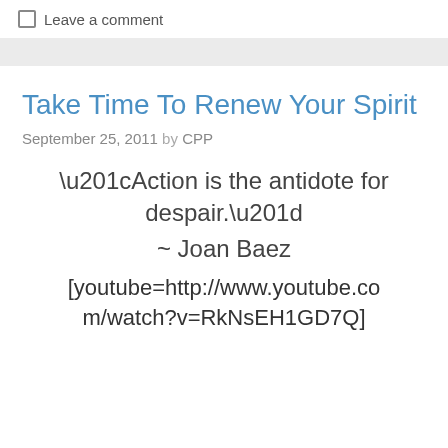Leave a comment
Take Time To Renew Your Spirit
September 25, 2011 by CPP
“Action is the antidote for despair.”
~ Joan Baez
[youtube=http://www.youtube.com/watch?v=RkNsEH1GD7Q]